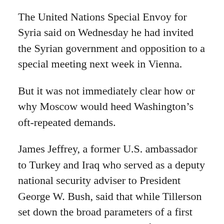The United Nations Special Envoy for Syria said on Wednesday he had invited the Syrian government and opposition to a special meeting next week in Vienna.
But it was not immediately clear how or why Moscow would heed Washington’s oft-repeated demands.
James Jeffrey, a former U.S. ambassador to Turkey and Iraq who served as a deputy national security adviser to President George W. Bush, said that while Tillerson set down the broad parameters of a first comprehensive U.S. strategy for Syria, he left major questions unanswered.
“It’s full of holes like Swiss cheese, but before we just had the holes,” said Jeffrey, a fellow at the Washington Institute for Near East Policy.
Key questions that Tillerson left unaddressed, he continued, included how long Assad should remain in